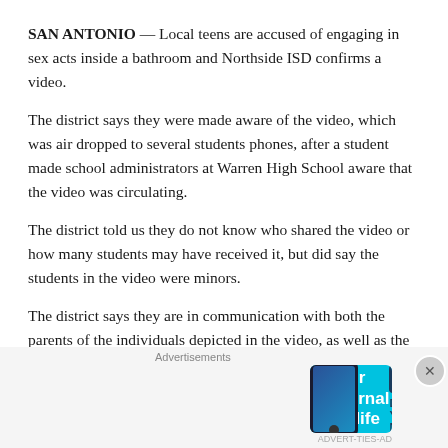SAN ANTONIO — Local teens are accused of engaging in sex acts inside a bathroom and Northside ISD confirms a video.
The district says they were made aware of the video, which was air dropped to several students phones, after a student made school administrators at Warren High School aware that the video was circulating.
The district told us they do not know who shared the video or how many students may have received it, but did say the students in the video were minors.
The district says they are in communication with both the parents of the individuals depicted in the video, as well as the parents of students who they are of who received the video to make sure everyone involved is informed.
“The other issue, given the age of the individuals depicted in
Advertisements
[Figure (other): Advertisement banner for 'Your Journal for life' by DayOne app, cyan/blue background with phone image and DayOne logo]